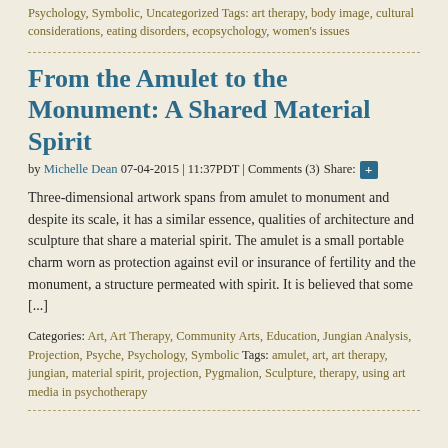Psychology, Symbolic, Uncategorized Tags: art therapy, body image, cultural considerations, eating disorders, ecopsychology, women's issues
From the Amulet to the Monument: A Shared Material Spirit
by Michelle Dean 07-04-2015 | 11:37PDT | Comments (3) Share:
Three-dimensional artwork spans from amulet to monument and despite its scale, it has a similar essence, qualities of architecture and sculpture that share a material spirit. The amulet is a small portable charm worn as protection against evil or insurance of fertility and the monument, a structure permeated with spirit. It is believed that some [...]
Categories: Art, Art Therapy, Community Arts, Education, Jungian Analysis, Projection, Psyche, Psychology, Symbolic Tags: amulet, art, art therapy, jungian, material spirit, projection, Pygmalion, Sculpture, therapy, using art media in psychotherapy